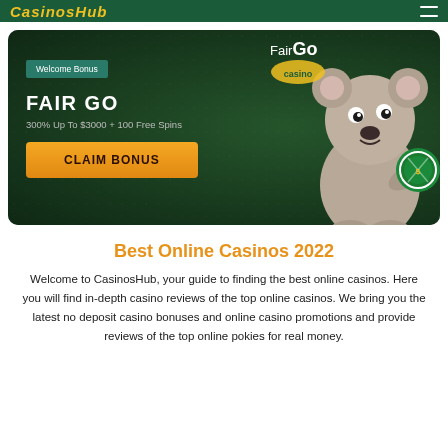CasinosHub
[Figure (illustration): Fair Go Casino promotional banner with dark green background, koala mascot holding a casino chip, FairGo Casino logo, Welcome Bonus badge, FAIR GO heading, 300% Up To $3000 + 100 Free Spins text, and orange CLAIM BONUS button]
Best Online Casinos 2022
Welcome to CasinosHub, your guide to finding the best online casinos. Here you will find in-depth casino reviews of the top online casinos. We bring you the latest no deposit casino bonuses and online casino promotions and provide reviews of the top online pokies for real money.